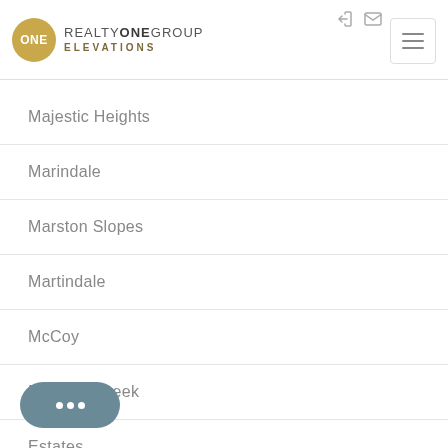Realty One Group Elevations
Majestic Heights
Marindale
Marston Slopes
Martindale
McCoy
Meadow Creek
Estates